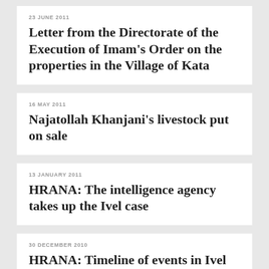23 JUNE 2011
Letter from the Directorate of the Execution of Imam's Order on the properties in the Village of Kata
16 MAY 2011
Najatollah Khanjani's livestock put on sale
13 JANUARY 2011
HRANA: The intelligence agency takes up the Ivel case
30 DECEMBER 2010
HRANA: Timeline of events in Ivel during Fall 2010
30 NOVEMBER 2010